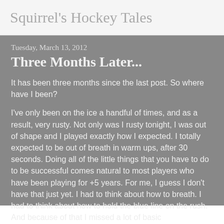Squirrel's Hockey Tales
Tuesday, March 13, 2012
Three Months Later...
It has been three months since the last post. So where have I been?
I've only been on the ice a handful of times, and as a result, very rusty. Not only was I rusty tonight, I was out of shape and I played exactly how I expected. I totally expected to be out of breath in warm ups, after 30 seconds. Doing all of the little things that you have to do to be successful comes natural to most players who have been playing for +5 years. For me, I guess I don't have that just yet. I had to think about how to breath. I had to think about how to hold the blue line on the rush. And because of that I missed a lot of basic